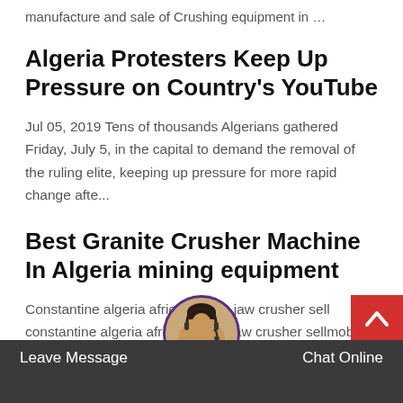manufacture and sale of Crushing equipment in …
Algeria Protesters Keep Up Pressure on Country's YouTube
Jul 05, 2019 Tens of thousands Algerians gathered Friday, July 5, in the capital to demand the removal of the ruling elite, keeping up pressure for more rapid change afte...
Best Granite Crusher Machine In Algeria mining equipment
Constantine algeria africa granite jaw crusher sell constantine algeria africa granite jaw crusher sellmobile stone crusher for price in algeria youtube nov 05 2013 mobile stone crusher for price in algeria grindingmillprice skd is a professional